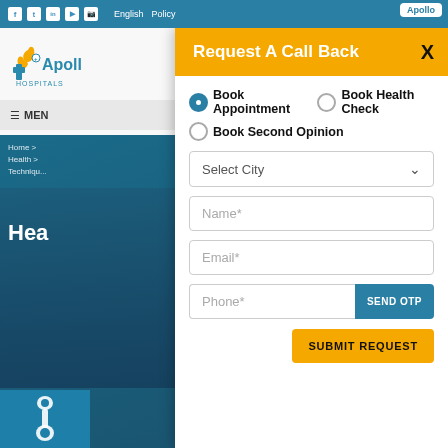Apollo Hospitals — Top navigation bar with social icons, English, Policy, Apollo logo
[Figure (screenshot): Apollo Hospitals logo on left panel with teal brand colors]
≡ MENU
Home > Health > Technique
Hea...
Request A Call Back
Book Appointment (selected), Book Health Check, Book Second Opinion
Select City
Name*
Email*
Phone*
SEND OTP
SUBMIT REQUEST